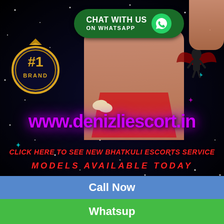[Figure (illustration): Advertisement banner with dark starfield background, illustrated female figure on right, #1 Brand badge on left, WhatsApp chat button at top, large purple URL text, red italic text lines, and colored action bars at bottom.]
CHAT WITH US ON WHATSAPP
#1 BRAND
www.denizliescort.in
CLICK HERE TO SEE NEW BHATKULI ESCORTS SERVICE
MODELS AVAILABLE TODAY
Call Now
Whatsup